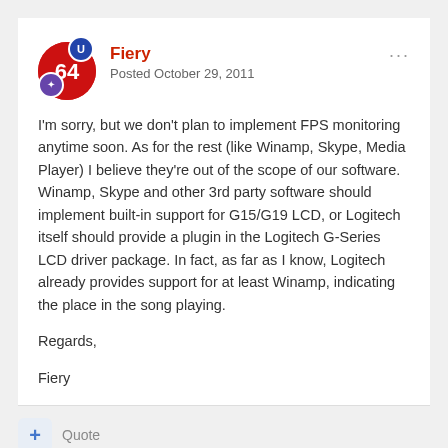Fiery — Posted October 29, 2011
I'm sorry, but we don't plan to implement FPS monitoring anytime soon. As for the rest (like Winamp, Skype, Media Player) I believe they're out of the scope of our software. Winamp, Skype and other 3rd party software should implement built-in support for G15/G19 LCD, or Logitech itself should provide a plugin in the Logitech G-Series LCD driver package. In fact, as far as I know, Logitech already provides support for at least Winamp, indicating the place in the song playing.

Regards,

Fiery